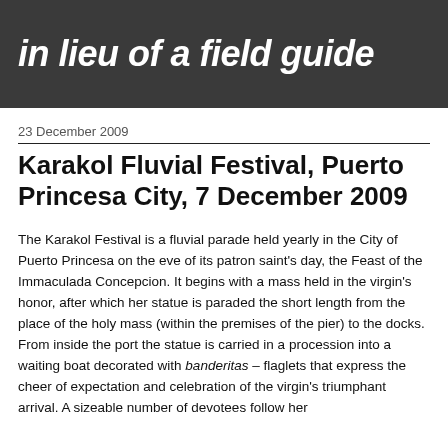in lieu of a field guide
23 December 2009
Karakol Fluvial Festival, Puerto Princesa City, 7 December 2009
The Karakol Festival is a fluvial parade held yearly in the City of Puerto Princesa on the eve of its patron saint's day, the Feast of the Immaculada Concepcion. It begins with a mass held in the virgin's honor, after which her statue is paraded the short length from the place of the holy mass (within the premises of the pier) to the docks. From inside the port the statue is carried in a procession into a waiting boat decorated with banderitas – flaglets that express the cheer of expectation and celebration of the virgin's triumphant arrival. A sizeable number of devotees follow her...